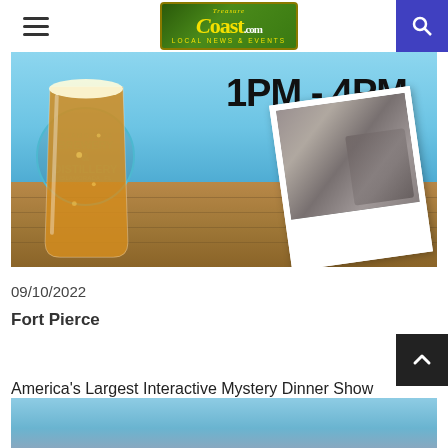Treasure Coast.com - Local News & Events
[Figure (photo): Event promotional image for Islamorada Brewery & Distillery showing a beer glass on a wooden deck with a polaroid photo of someone playing guitar, time text 1PM - 4PM prominently displayed]
09/10/2022
Fort Pierce
America's Largest Interactive Mystery Dinner Show
[Figure (photo): Partial image of next event listing - America's Largest Interactive Mystery Dinner Show]